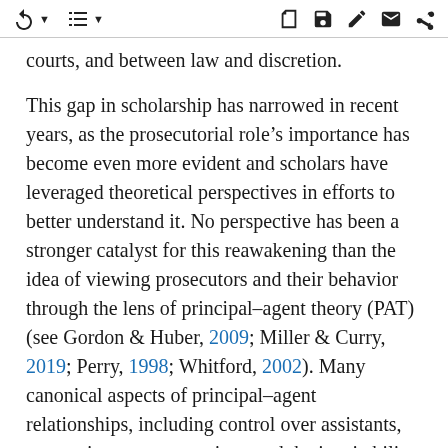[toolbar with navigation and action icons]
courts, and between law and discretion.
This gap in scholarship has narrowed in recent years, as the prosecutorial role’s importance has become even more evident and scholars have leveraged theoretical perspectives in efforts to better understand it. No perspective has been a stronger catalyst for this reawakening than the idea of viewing prosecutors and their behavior through the lens of principal–agent theory (PAT) (see Gordon & Huber, 2009; Miller & Curry, 2019; Perry, 1998; Whitford, 2002). Many canonical aspects of principal–agent relationships, including control over assistants, responsiveness to superiors, and the inevitability of asymmetrical information, are directly applicable to the work of state and federal